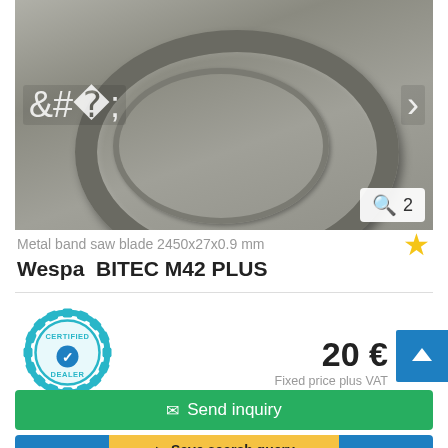[Figure (photo): Product photo of a metal band saw blade coiled in a ring/coil shape, shown on a metal surface background, with left/right navigation arrows and an image count badge showing '2'.]
Metal band saw blade 2450x27x0.9 mm
Wespa  BITEC M42 PLUS
[Figure (logo): Certified Dealer badge — circular gear-shaped logo in teal/blue with 'CERTIFIED' and 'DEALER' text and a checkmark in the center.]
20 €
Fixed price plus VAT
✉ Send inquiry
➤ Save search query